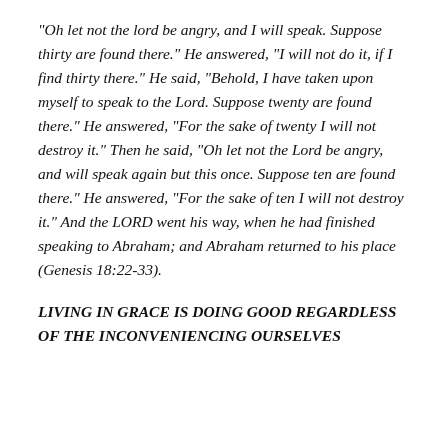“Oh let not the lord be angry, and I will speak. Suppose thirty are found there.” He answered, “I will not do it, if I find thirty there.” He said, “Behold, I have taken upon myself to speak to the Lord. Suppose twenty are found there.” He answered, “For the sake of twenty I will not destroy it.” Then he said, “Oh let not the Lord be angry, and will speak again but this once. Suppose ten are found there.” He answered, “For the sake of ten I will not destroy it.” And the LORD went his way, when he had finished speaking to Abraham; and Abraham returned to his place (Genesis 18:22-33).
LIVING IN GRACE IS DOING GOOD REGARDLESS OF THE INCONVENIENCING OURSELVES